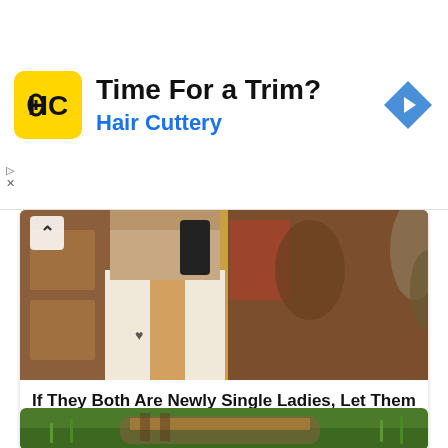[Figure (infographic): Hair Cuttery advertisement banner with yellow HC logo, 'Time For a Trim?' heading, 'Hair Cuttery' subheading in blue, and a blue navigation diamond icon on the right.]
[Figure (photo): Person in a white corset top taking a mirror selfie with a phone, tattoo visible on upper arm, colorful mural/painting in background behind a gold-framed mirror.]
If They Both Are Newly Single Ladies, Let Them Live Their Lives!
Herbeauty
[Figure (photo): Person lying on green grass wearing a plaid/checkered outfit in earth tones, relaxing outdoors.]